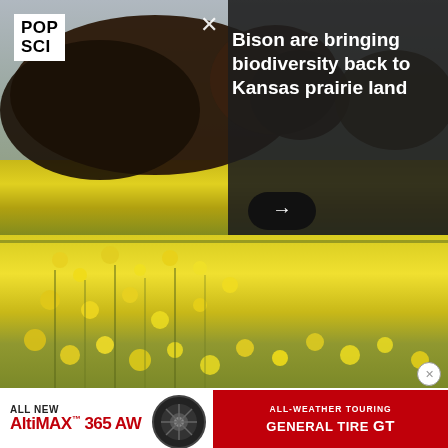[Figure (photo): Bison standing in a Kansas prairie field with yellow wildflowers, outdoor nature photography]
POP SCI
Bison are bringing biodiversity back to Kansas prairie land
The NSA project, disastrously named Skynet, uses cellular network traffic in Pakistan to identify and monitor potential threats, according to leaked documents on The Intercept. Like many machine learning algorithms in big data, it takes millions of
values ... rns. This w ... he Ars
[Figure (other): Advertisement for General Tire AltiMAX 365 AW all-weather touring tire]